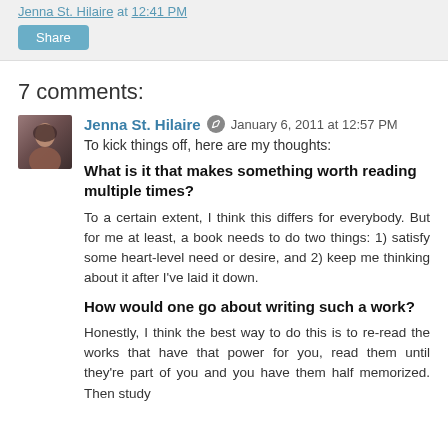Jenna St. Hilaire at 12:41 PM
Share
7 comments:
Jenna St. Hilaire  January 6, 2011 at 12:57 PM
To kick things off, here are my thoughts:
What is it that makes something worth reading multiple times?
To a certain extent, I think this differs for everybody. But for me at least, a book needs to do two things: 1) satisfy some heart-level need or desire, and 2) keep me thinking about it after I've laid it down.
How would one go about writing such a work?
Honestly, I think the best way to do this is to re-read the works that have that power for you, read them until they're part of you and you have them half memorized. Then study